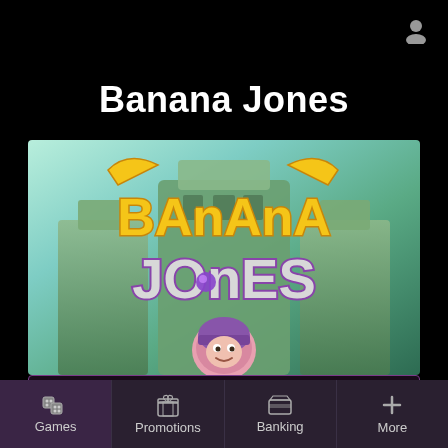[Figure (screenshot): User/account icon in top right corner]
Banana Jones
[Figure (illustration): Banana Jones game artwork showing colorful title logo with 'Banana Jones' text and a cartoon monkey character in front of a jungle temple background]
Sign Up
Games | Promotions | Banking | More